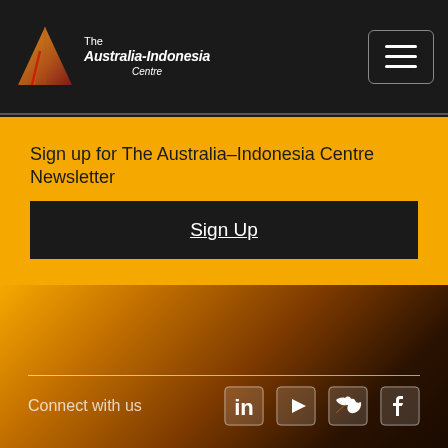[Figure (logo): The Australia-Indonesia Centre logo with stylized triangle/mountain shape in orange and red tones, with white text reading 'The Australia-Indonesia Centre']
Sign up for The Australia–Indonesia Centre Newsletter
Sign Up
Connect with us
[Figure (other): Social media icons: LinkedIn, YouTube, Twitter, Facebook]